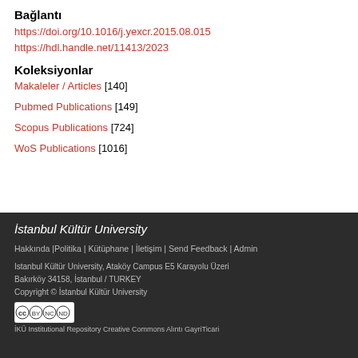Bağlantı
https://doi.org/10.1016/j.yexcr.2015.08.015
https://hdl.handle.net/11413/2023
Koleksiyonlar
Makaleler / Articles [140]
Pubmed Publications [149]
Scopus Publications [724]
WoS Publications [1016]
İstanbul Kültür University
Hakkında |Politika | Kütüphane | İletişim | Send Feedback | Admin
Istanbul Kültür University, Ataköy Campus E5 Karayolu Üzeri Bakırköy 34158, İstanbul / TURKEY
Copyright © İstanbul Kültür University
İKÜ Institutional Repository Creative Commons Alıntı GayriTicari